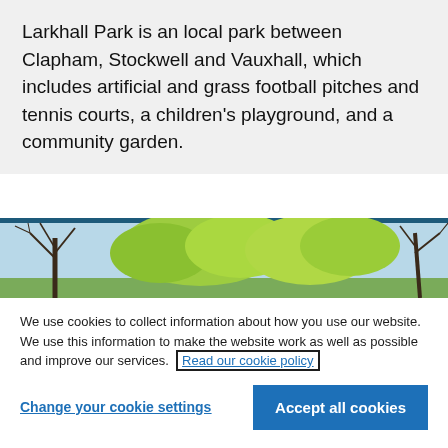Larkhall Park is an local park between Clapham, Stockwell and Vauxhall, which includes artificial and grass football pitches and tennis courts, a children's playground, and a community garden.
[Figure (photo): Photograph of trees with green and yellow foliage against a blue sky, with bare tree branches visible on the left and right edges.]
We use cookies to collect information about how you use our website. We use this information to make the website work as well as possible and improve our services. Read our cookie policy
Change your cookie settings
Accept all cookies